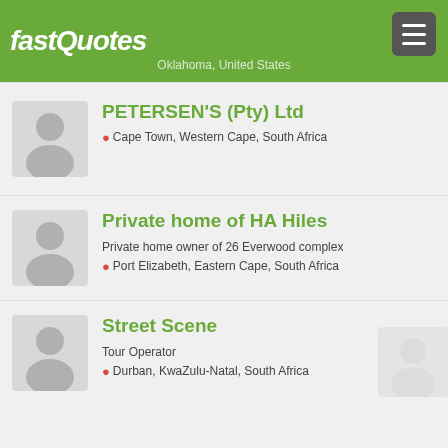fastQuotes
PETERSEN'S (Pty) Ltd
Cape Town, Western Cape, South Africa
Private home of HA Hiles
Private home owner of 26 Everwood complex
Port Elizabeth, Eastern Cape, South Africa
Street Scene
Tour Operator
Durban, KwaZulu-Natal, South Africa